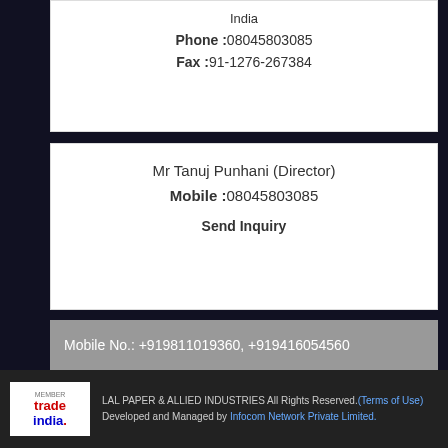India
Phone :08045803085
Fax :91-1276-267384
Mr Tanuj Punhani (Director)
Mobile :08045803085
Send Inquiry
Mobile No.: +919811019360, +919416054560
Send SMS
Send Inquiry
LAL PAPER & ALLIED INDUSTRIES All Rights Reserved.(Terms of Use) Developed and Managed by Infocom Network Private Limited.